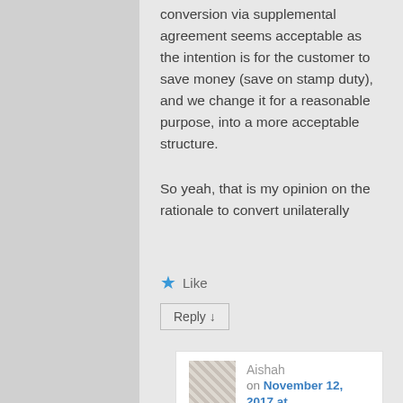conversion via supplemental agreement seems acceptable as the intention is for the customer to save money (save on stamp duty), and we change it for a reasonable purpose, into a more acceptable structure.
So yeah, that is my opinion on the rationale to convert unilaterally
Like
Reply ↓
Aishah on November 12, 2017 at 10:12 am said:
Thanks Encik Amir for your views. The conversion is unlikely to be unilateral in the sense that the